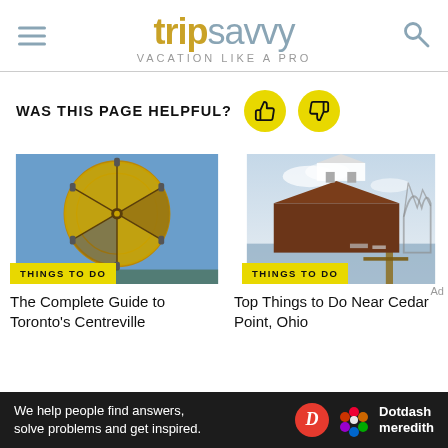tripsavvy VACATION LIKE A PRO
WAS THIS PAGE HELPFUL?
[Figure (photo): Ferris wheel with yellow and brown spokes against blue sky — Toronto's Centreville Amusement Park]
THINGS TO DO
The Complete Guide to Toronto's Centreville
[Figure (photo): Waterfront pavilion with brown roof and marina with roller coaster in background — Cedar Point, Ohio]
THINGS TO DO
Top Things to Do Near Cedar Point, Ohio
We help people find answers, solve problems and get inspired. Dotdash meredith